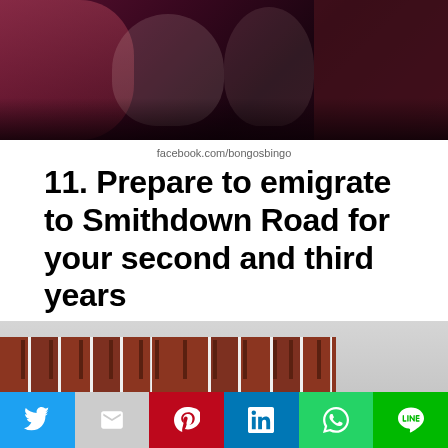[Figure (photo): Photo of people sitting at a bar or event venue with dim reddish/purple lighting]
facebook.com/bongosbingo
11. Prepare to emigrate to Smithdown Road for your second and third years
[Figure (photo): Street photo of Smithdown Road in Liverpool showing red brick terraced houses, a Taxi sign, and a Discount shop]
Twitter, Mail, Pinterest, LinkedIn, WhatsApp, Line share buttons